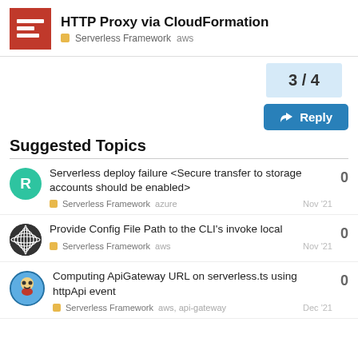HTTP Proxy via CloudFormation
Serverless Framework  aws
3 / 4
Reply
Suggested Topics
Serverless deploy failure <Secure transfer to storage accounts should be enabled>  Serverless Framework  azure  Nov '21  0
Provide Config File Path to the CLI's invoke local  Serverless Framework  aws  Nov '21  0
Computing ApiGateway URL on serverless.ts using httpApi event  Serverless Framework  aws, api-gateway  Dec '21  0